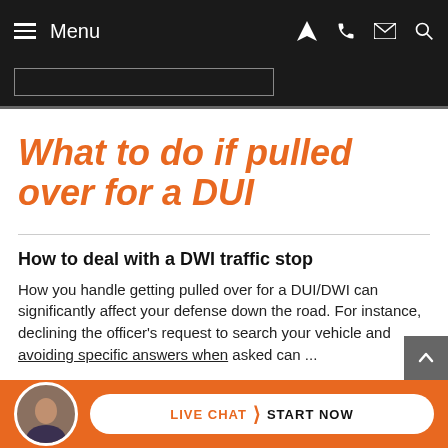Menu
What to do if pulled over for a DUI
How to deal with a DWI traffic stop
How you handle getting pulled over for a DUI/DWI can significantly affect your defense down the road. For instance, declining the officer's request to search your vehicle and avoiding specific answers when asked can...